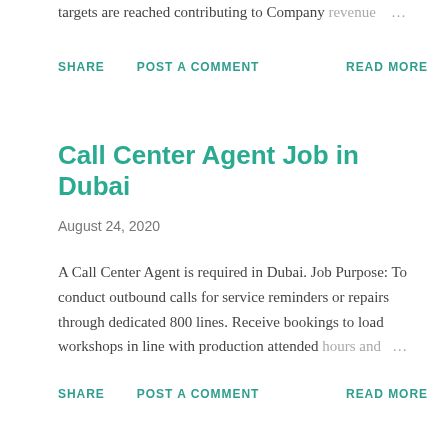targets are reached contributing to Company revenue …
SHARE   POST A COMMENT   READ MORE
Call Center Agent Job in Dubai
August 24, 2020
A Call Center Agent is required in Dubai. Job Purpose: To conduct outbound calls for service reminders or repairs through dedicated 800 lines. Receive bookings to load workshops in line with production attended hours and …
SHARE   POST A COMMENT   READ MORE